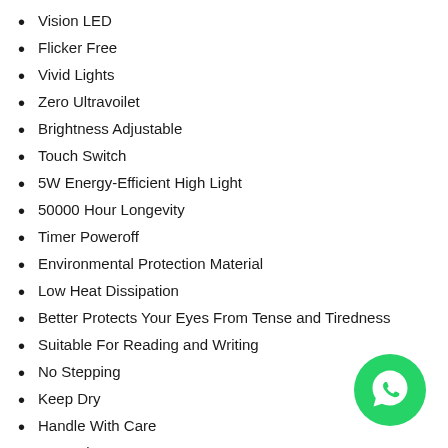Vision LED
Flicker Free
Vivid Lights
Zero Ultravoilet
Brightness Adjustable
Touch Switch
5W Energy-Efficient High Light
50000 Hour Longevity
Timer Poweroff
Environmental Protection Material
Low Heat Dissipation
Better Protects Your Eyes From Tense and Tiredness
Suitable For Reading and Writing
No Stepping
Keep Dry
Handle With Care
Upward
Uses 5W 5A Adapter and Good Quality Cable
[Figure (logo): WhatsApp green circle logo icon in bottom-right corner]